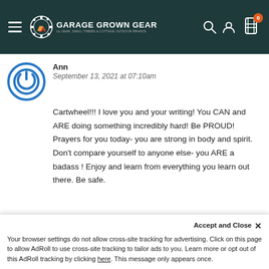Garage Grown Gear - navigation header with hamburger menu, logo, search, account, and cart (0) icons
Ann
September 13, 2021 at 07:10am
Cartwheel!!! I love you and your writing! You CAN and ARE doing something incredibly hard! Be PROUD! Prayers for you today- you are strong in body and spirit. Don’t compare yourself to anyone else- you ARE a badass ! Enjoy and learn from everything you learn out there. Be safe.
Kris S
September 13, 2021 at 19:07pm
Your browser settings do not allow cross-site tracking for advertising. Click on this page to allow AdRoll to use cross-site tracking to tailor ads to you. Learn more or opt out of this AdRoll tracking by clicking here. This message only appears once.
Accept and Close ×